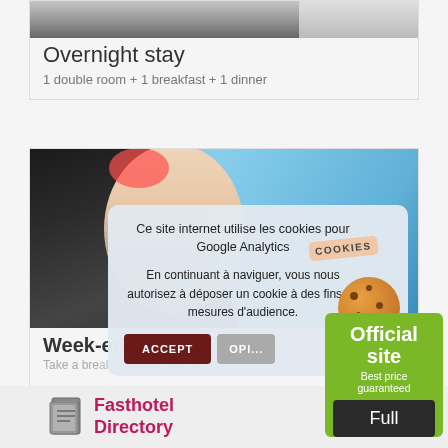[Figure (photo): Top of a card with a dark/grey photo at top — hotel or room scene]
Overnight stay
1 double room + 1 breakfast + 1 dinner
[Figure (photo): Photo of person with legs out of car window against blue sky]
Week-end in...
Take a break in France at bargain...
Ce site internet utilise les cookies pour Google Analytics

En continuant à naviguer, vous nous autorisez à déposer un cookie à des fins de mesures d'audience.
ACCEPT
OPT...
Official site
Best price guaranteed
Full
[Figure (logo): Fasthotel Directory logo with icon]
Fasthotel
Directory